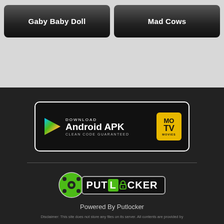[Figure (screenshot): Two movie buttons: 'Gaby Baby Doll' and 'Mad Cows' on a gray background]
[Figure (logo): Download Android APK banner for MoTV Movies app with Google Play triangle icon and CLEAN CODE GUARANTEED text]
[Figure (logo): Putlocker logo with green film reel icon and PUT LOCKER text on dark background]
Powered By Putlocker
Disclaimer: This site does not store any files on its server. All contents are provided by